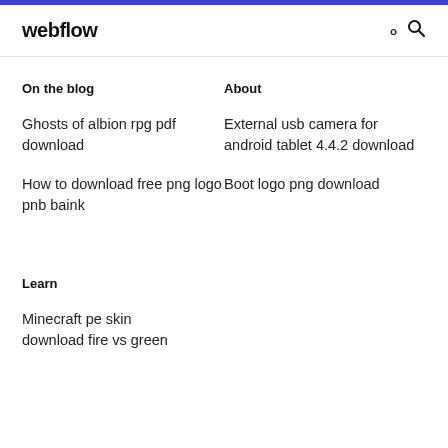webflow
On the blog
About
Ghosts of albion rpg pdf download
External usb camera for android tablet 4.4.2 download
How to download free png logo pnb baink
Boot logo png download
Learn
Minecraft pe skin download fire vs green